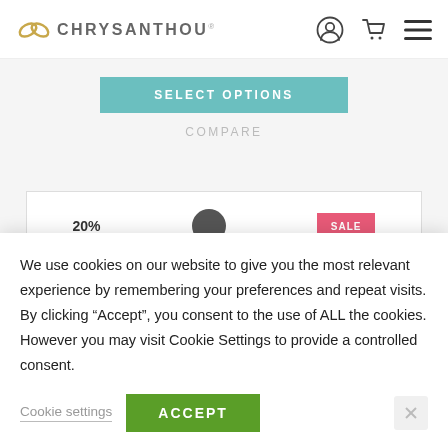CHRYSANTHOU
SELECT OPTIONS
COMPARE
[Figure (screenshot): Partial product card with badge text, dark circular thumbnail, and pink/red sale button]
We use cookies on our website to give you the most relevant experience by remembering your preferences and repeat visits. By clicking “Accept”, you consent to the use of ALL the cookies. However you may visit Cookie Settings to provide a controlled consent.
Cookie settings
ACCEPT